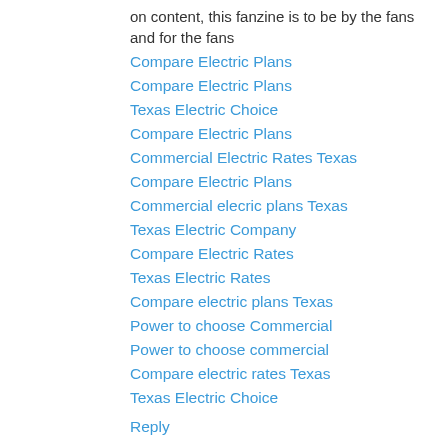on content, this fanzine is to be by the fans and for the fans
Compare Electric Plans
Compare Electric Plans
Texas Electric Choice
Compare Electric Plans
Commercial Electric Rates Texas
Compare Electric Plans
Commercial elecric plans Texas
Texas Electric Company
Compare Electric Rates
Texas Electric Rates
Compare electric plans Texas
Power to choose Commercial
Power to choose commercial
Compare electric rates Texas
Texas Electric Choice
Reply
SHOPnROAR 23 December 2018 at 21:47
We shall never know all the good that a simple smile can do.